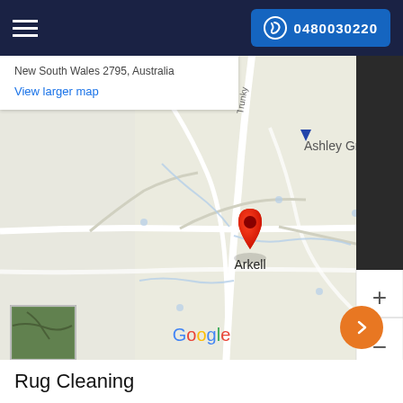0480030220
[Figure (map): Google Map showing the area around Arkell, New South Wales 2795, Australia with a red location pin marker on Arkell. Map shows roads including Trunkey Rd and nearby locality Ashley Grove. Map includes satellite thumbnail, zoom controls, Google branding, and keyboard shortcuts footer. A 'Schedule Booking' sidebar is visible on the right.]
New South Wales 2795, Australia
View larger map
Keyboard shortcuts   Map data ©2022 Google   Terms o
Rug Cleaning